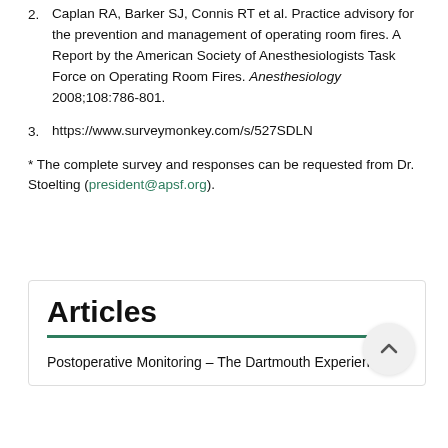2. Caplan RA, Barker SJ, Connis RT et al. Practice advisory for the prevention and management of operating room fires. A Report by the American Society of Anesthesiologists Task Force on Operating Room Fires. Anesthesiology 2008;108:786-801.
3. https://www.surveymonkey.com/s/527SDLN
* The complete survey and responses can be requested from Dr. Stoelting (president@apsf.org).
Articles
Postoperative Monitoring – The Dartmouth Experience